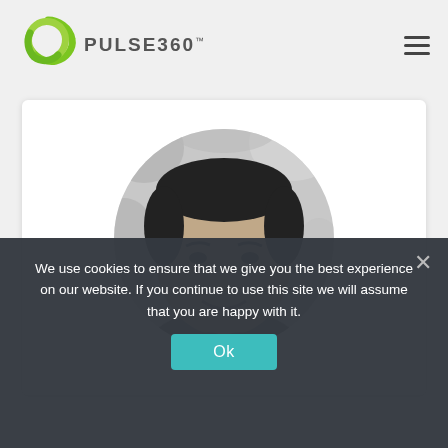[Figure (logo): Pulse360 logo with green circular icon and PULSE360 text]
[Figure (photo): Black and white circular portrait photo of a smiling man with short dark hair, wearing a collared shirt, outdoor background with bokeh]
We use cookies to ensure that we give you the best experience on our website. If you continue to use this site we will assume that you are happy with it.
Ok